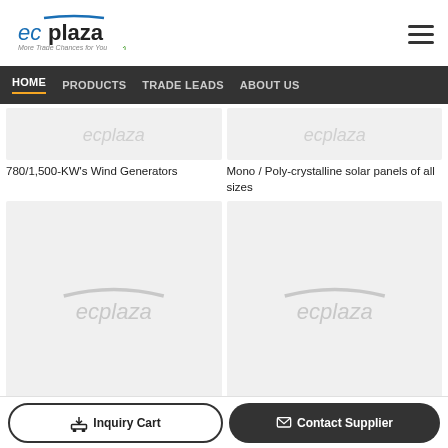[Figure (logo): ECPlaza logo with text 'ecplaza' and tagline 'More Trade Chances for You']
HOME  PRODUCTS  TRADE LEADS  ABOUT US
[Figure (photo): Product image placeholder for 780/1,500-KW's Wind Generators with ecplaza watermark]
780/1,500-KW's Wind Generators
[Figure (photo): Product image placeholder for Mono / Poly-crystalline solar panels of all sizes with ecplaza watermark]
Mono / Poly-crystalline solar panels of all sizes
[Figure (photo): Large product image placeholder with ecplaza watermark]
[Figure (photo): Large product image placeholder with ecplaza watermark]
Inquiry Cart
Contact Supplier